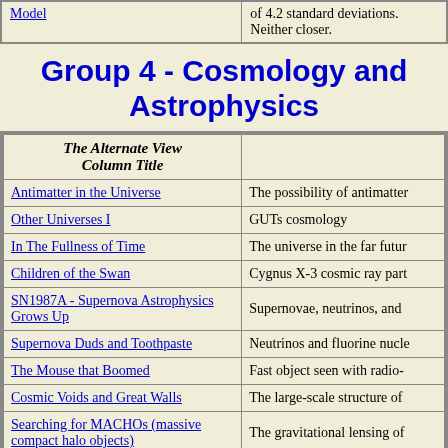| Model |  |
| --- | --- |
| Model | of 4.2 standard deviations. Neither closer. |
Group 4 - Cosmology and Astrophysics
| The Alternate View Column Title |  |
| --- | --- |
| Antimatter in the Universe | The possibility of antimatter |
| Other Universes I | GUTs cosmology |
| In The Fullness of Time | The universe in the far future |
| Children of the Swan | Cygnus X-3 cosmic ray part |
| SN1987A - Supernova Astrophysics Grows Up | Supernovae, neutrinos, and |
| Supernova Duds and Toothpaste | Neutrinos and fluorine nucl |
| The Mouse that Boomed | Fast object seen with radio- |
| Cosmic Voids and Great Walls | The large-scale structure of |
| Searching for MACHOs (massive compact halo objects) | The gravitational lensing of |
| Stretch Marks on the Universe |  |